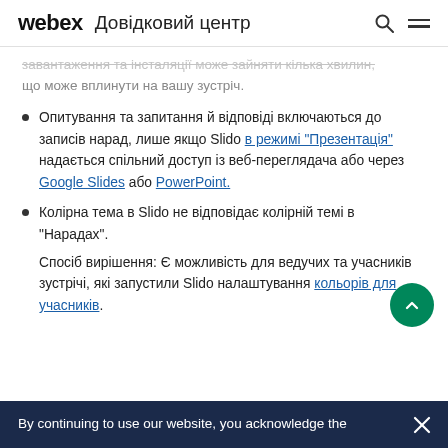webex Довідковий центр
завантаження та інсталяції може зайняти кілька хвилин, що може вплинути на вашу зустріч.
Опитування та запитання й відповіді включаються до записів нарад, лише якщо Slido в режимі "Презентація" надається спільний доступ із веб-переглядача або через Google Slides або PowerPoint.
Колірна тема в Slido не відповідає колірній темі в "Нарадах".
Спосіб вирішення: Є можливість для ведучих та учасників зустрічі, які запустили Slido налаштування кольорів для учасників.
By continuing to use our website, you acknowledge the